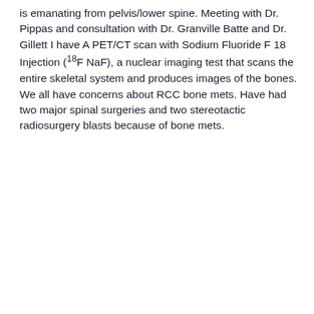is emanating from pelvis/lower spine. Meeting with Dr. Pippas and consultation with Dr. Granville Batte and Dr. Gillett I have A PET/CT scan with Sodium Fluoride F 18 Injection (18F NaF), a nuclear imaging test that scans the entire skeletal system and produces images of the bones. We all have concerns about RCC bone mets. Have had two major spinal surgeries and two stereotactic radiosurgery blasts because of bone mets.